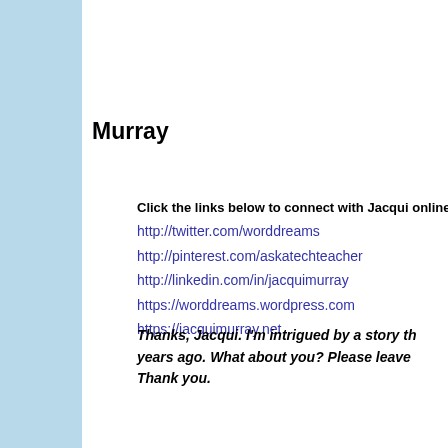Murray
Click the links below to connect with Jacqui online
http://twitter.com/worddreams
http://pinterest.com/askatechteacher
http://linkedin.com/in/jacquimurray
https://worddreams.wordpress.com
https://jacquimurray.net
Thanks, Jacqui. I'm intrigued by a story th... years ago. What about you? Please leave... Thank you.
[Figure (infographic): Don't miss a update! Add your em... promotional subscription box with cyan/light blue background and star decoration]